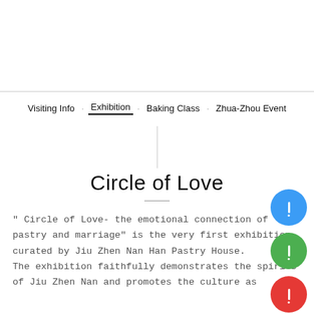Visiting Info · Exhibition · Baking Class · Zhua-Zhou Event
Circle of Love
" Circle of Love- the emotional connection of pastry and marriage" is the very first exhibition curated by Jiu Zhen Nan Han Pastry House. The exhibition faithfully demonstrates the spirits of Jiu Zhen Nan and promotes the culture as